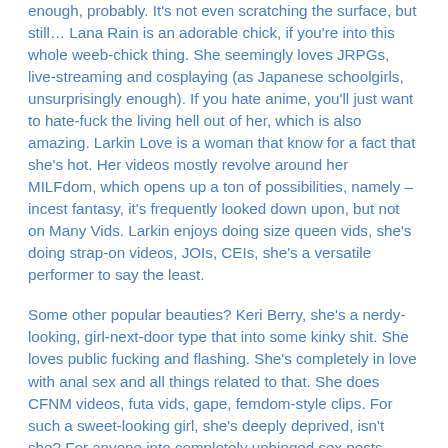enough, probably. It's not even scratching the surface, but still… Lana Rain is an adorable chick, if you're into this whole weeb-chick thing. She seemingly loves JRPGs, live-streaming and cosplaying (as Japanese schoolgirls, unsurprisingly enough). If you hate anime, you'll just want to hate-fuck the living hell out of her, which is also amazing. Larkin Love is a woman that know for a fact that she's hot. Her videos mostly revolve around her MILFdom, which opens up a ton of possibilities, namely – incest fantasy, it's frequently looked down upon, but not on Many Vids. Larkin enjoys doing size queen vids, she's doing strap-on videos, JOIs, CEIs, she's a versatile performer to say the least.
Some other popular beauties? Keri Berry, she's a nerdy-looking, girl-next-door type that into some kinky shit. She loves public fucking and flashing. She's completely in love with anal sex and all things related to that. She does CFNM videos, futa vids, gape, femdom-style clips. For such a sweet-looking girl, she's deeply deprived, isn't she? For anyone into completely unhinged sex pests – there's Ashley Alban. This girl says she's a "cock magician" and "fantasy fulfiller". This girl does everything you might think of. There are femdom videos, plenty of them. There's Asian guy fantasy fulfillment, there's cosplaying (Game Of Thrones surely IS popular), hairy armpit videos, step-sister banging, step-daddy seduction, foot fetish videos, CEI, JOI, giantess fetish videos. The best part? There's a video where's she's getting real naughty while wearing a Jar-Jar